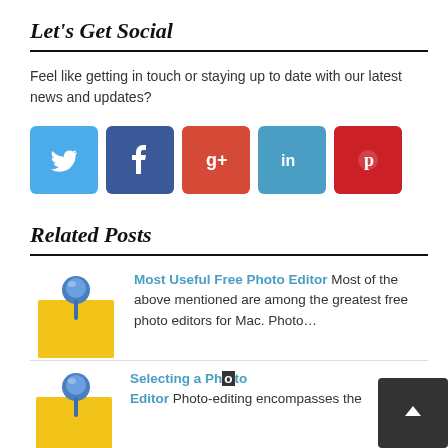Let's Get Social
Feel like getting in touch or staying up to date with our latest news and updates?
[Figure (infographic): Five social media icon buttons: Twitter (blue), Facebook (dark blue), Google+ (red-orange), LinkedIn (blue), Pinterest (red)]
Related Posts
[Figure (illustration): Yellow sticky note with blue pushpin icon]
Most Useful Free Photo Editor Most of the above mentioned are among the greatest free photo editors for Mac. Photo…
[Figure (illustration): Yellow sticky note with blue pushpin icon]
Selecting a Photo Editor Photo-editing encompasses the